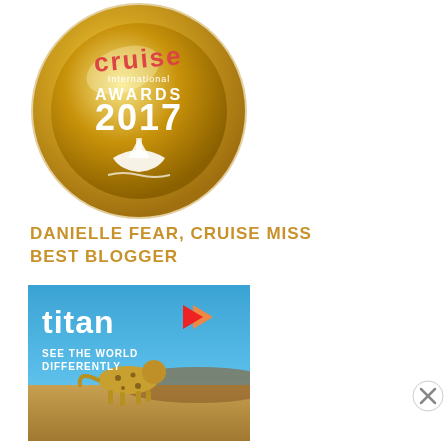[Figure (illustration): Cruise International Awards 2017 gold medal with ship graphic and ribbon]
DANIELLE FEAR, CRUISE MISS
BEST BLOGGER
[Figure (photo): Titan Travel advertisement: blue sky background with cheetah on savanna, text reads 'titan SEE THE WORLD DIFFERENTLY']
Advertisements